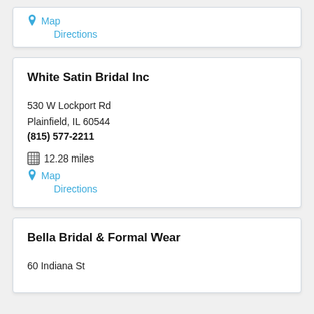Map
Directions
White Satin Bridal Inc
530 W Lockport Rd
Plainfield, IL 60544
(815) 577-2211
12.28 miles
Map
Directions
Bella Bridal & Formal Wear
60 Indiana St